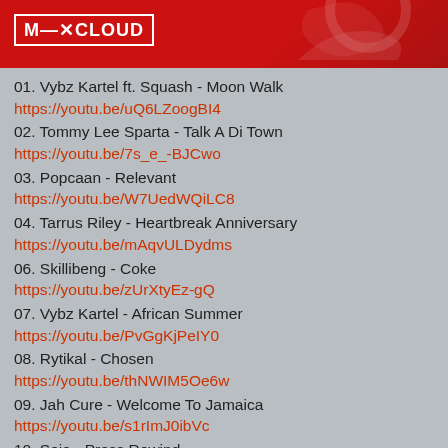[Figure (logo): Mixcloud logo banner with red background and white swirl/bird graphic]
01. Vybz Kartel ft. Squash - Moon Walk
https://youtu.be/uQ6LZoogBI4
02. Tommy Lee Sparta - Talk A Di Town
https://youtu.be/7s_e_-BJCwo
03. Popcaan - Relevant
https://youtu.be/W7UedWQiLC8
04. Tarrus Riley - Heartbreak Anniversary
https://youtu.be/mAqvULDydms
06. Skillibeng - Coke
https://youtu.be/zUrXtyEz-gQ
07. Vybz Kartel - African Summer
https://youtu.be/PvGgKjPeIY0
08. Rytikal - Chosen
https://youtu.be/thNWIM5Oe6w
09. Jah Cure - Welcome To Jamaica
https://youtu.be/s1rImJ0ibVc
10. Soja - Press Rewind
https://youtu.be/JXT8aNAuvTw
11. Rytikal - Living
https://youtu.be/peHmPMUFQXI